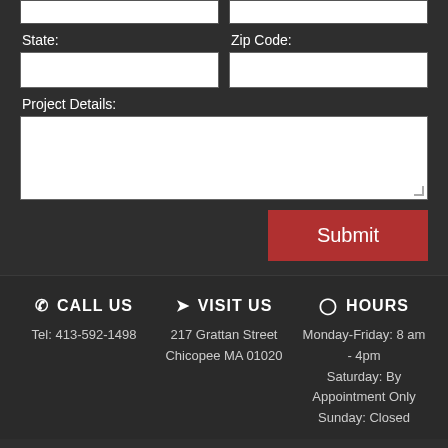State:
Zip Code:
Project Details:
Submit
CALL US | Tel: 413-592-1498 | VISIT US | 217 Grattan Street Chicopee MA 01020 | HOURS | Monday-Friday: 8 am - 4pm | Saturday: By Appointment Only | Sunday: Closed